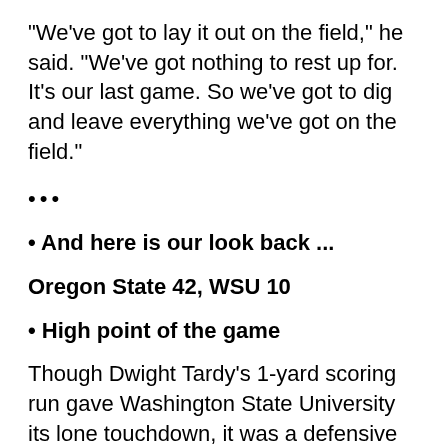"We've got to lay it out on the field," he said. "We've got nothing to rest up for. It's our last game. So we've got to dig and leave everything we've got on the field."
•••
• And here is our look back ...
Oregon State 42, WSU 10
• High point of the game
Though Dwight Tardy's 1-yard scoring run gave Washington State University its lone touchdown, it was a defensive play that gave the Cougars hope. Oregon State had scored on its first three possessions, doing nothing fancy but still moving methodically down the field. The Beavers were about to tack on another when Xavier Hicks stepped in front of Joe Halahuni and picked off